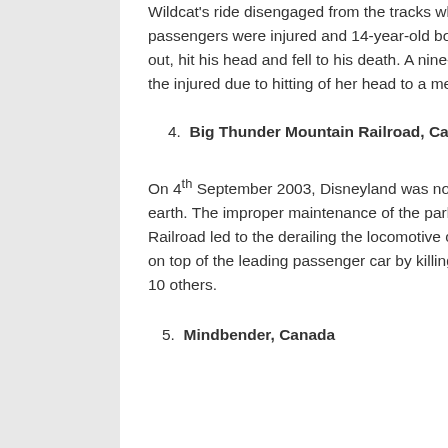Wildcat's ride disengaged from the tracks while ascending its hill. Six passengers were injured and 14-year-old boy in the front car was flunked out, hit his head and fell to his death. A nine-year-old girl was also among the injured due to hitting of her head to a metal beam.
4. Big Thunder Mountain Railroad, California
On 4th September 2003, Disneyland was not the happiest place on the earth. The improper maintenance of the park's Big Thunder Mountain Railroad led to the derailing the locomotive car. The separated car landed on top of the leading passenger car by killing a 22-year-old man and injuring 10 others.
5. Mindbender, Canada